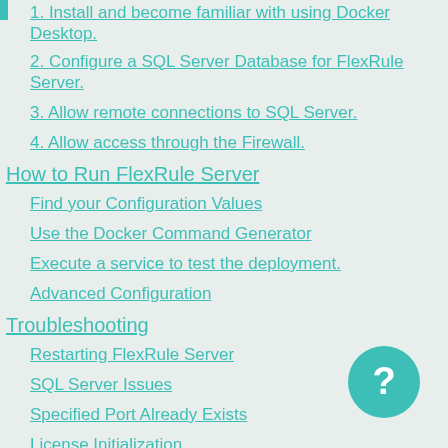1. Install and become familiar with using Docker Desktop.
2. Configure a SQL Server Database for FlexRule Server.
3. Allow remote connections to SQL Server.
4. Allow access through the Firewall.
How to Run FlexRule Server
Find your Configuration Values
Use the Docker Command Generator
Execute a service to test the deployment.
Advanced Configuration
Troubleshooting
Restarting FlexRule Server
SQL Server Issues
Specified Port Already Exists
License Initialization